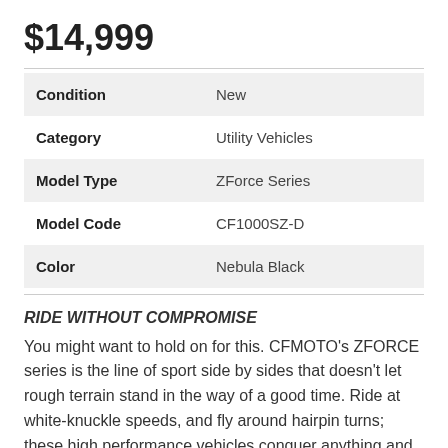$14,999
| Attribute | Value |
| --- | --- |
| Condition | New |
| Category | Utility Vehicles |
| Model Type | ZForce Series |
| Model Code | CF1000SZ-D |
| Color | Nebula Black |
RIDE WITHOUT COMPROMISE
You might want to hold on for this. CFMOTO's ZFORCE series is the line of sport side by sides that doesn't let rough terrain stand in the way of a good time. Ride at white-knuckle speeds, and fly around hairpin turns; these high performance vehicles conquer anything and everything you throw their way. Debating between our